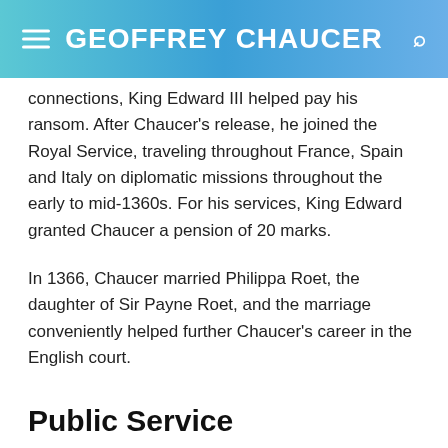GEOFFREY CHAUCER
connections, King Edward III helped pay his ransom. After Chaucer's release, he joined the Royal Service, traveling throughout France, Spain and Italy on diplomatic missions throughout the early to mid-1360s. For his services, King Edward granted Chaucer a pension of 20 marks.
In 1366, Chaucer married Philippa Roet, the daughter of Sir Payne Roet, and the marriage conveniently helped further Chaucer's career in the English court.
Public Service
By 1368, King Edward III had made Chaucer one of his esquires. When the queen died in 1369, it served to strengthen Philippa's position and subsequently Chaucer's